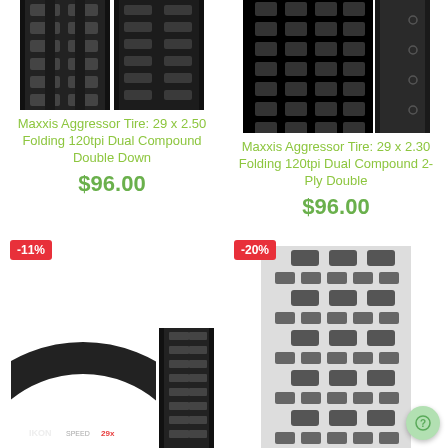[Figure (photo): Maxxis Aggressor mountain bike tire tread close-up, top portion cropped, two views side by side]
Maxxis Aggressor Tire: 29 x 2.50 Folding 120tpi Dual Compound Double Down
$96.00
[Figure (photo): Maxxis Aggressor mountain bike tire 29x2.30, side view and tread close-up]
Maxxis Aggressor Tire: 29 x 2.30 Folding 120tpi Dual Compound 2-Ply Double
$96.00
[Figure (photo): Maxxis Ikon mountain bike tire with -11% discount badge, folded tire and side profile view]
[Figure (photo): Mountain bike tire tread close-up with -20% discount badge]